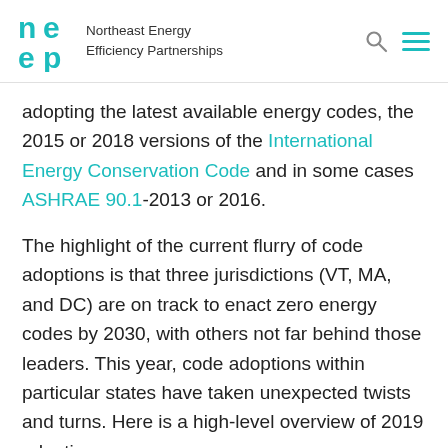Northeast Energy Efficiency Partnerships
adopting the latest available energy codes, the 2015 or 2018 versions of the International Energy Conservation Code and in some cases ASHRAE 90.1-2013 or 2016.
The highlight of the current flurry of code adoptions is that three jurisdictions (VT, MA, and DC) are on track to enact zero energy codes by 2030, with others not far behind those leaders. This year, code adoptions within particular states have taken unexpected twists and turns. Here is a high-level overview of 2019 adoptions: